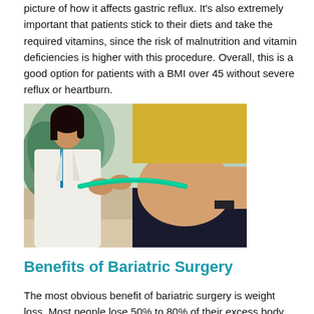picture of how it affects gastric reflux. It's also extremely important that patients stick to their diets and take the required vitamins, since the risk of malnutrition and vitamin deficiencies is higher with this procedure. Overall, this is a good option for patients with a BMI over 45 without severe reflux or heartburn.
[Figure (photo): A doctor in a white coat measuring the waist of an overweight patient with a green tape measure. The patient is wearing a yellow crop top and black pants. There are plants in the background.]
Benefits of Bariatric Surgery
The most obvious benefit of bariatric surgery is weight loss. Most people lose 50% to 80% of their excess body weight within a year or